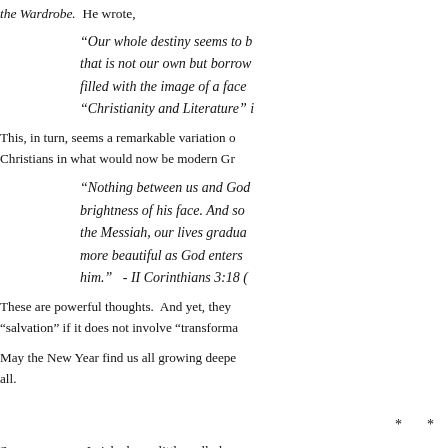the Wardrobe. He wrote,
“Our whole destiny seems to b... that is not our own but borrow... filled with the image of a face ... “Christianity and Literature” i
This, in turn, seems a remarkable variation o... Christians in what would now be modern Gr...
“Nothing between us and God... brightness of his face. And so ... the Messiah, our lives gradua... more beautiful as God enters ... him.”  - II Corinthians 3:18 (
These are powerful thoughts. And yet, they ... “salvation” if it does not involve “transforma...
May the New Year find us all growing deepe... all.
* *
Some years ago I picked up a little wall plaq...